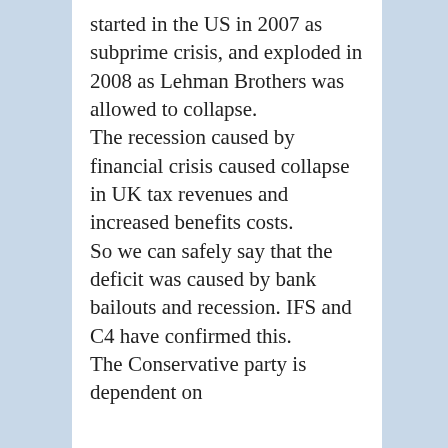started in the US in 2007 as subprime crisis, and exploded in 2008 as Lehman Brothers was allowed to collapse. The recession caused by financial crisis caused collapse in UK tax revenues and increased benefits costs. So we can safely say that the deficit was caused by bank bailouts and recession. IFS and C4 have confirmed this. The Conservative party is dependent on